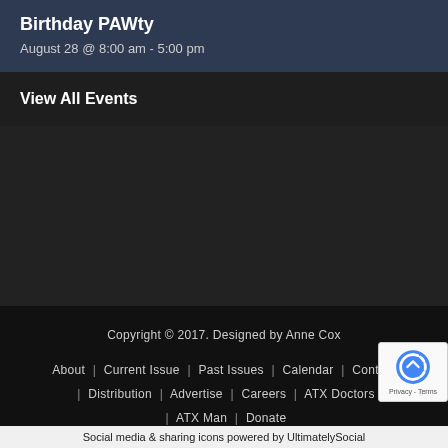Birthday PAWty
August 28 @ 8:00 am - 5:00 pm
View All Events
Copyright © 2017. Designed by Anne Cox
About | Current Issue | Past Issues | Calendar | Contact | Distribution | Advertise | Careers | ATX Doctors | ATX Man | Donate
Social media & sharing icons powered by UltimatelySocial